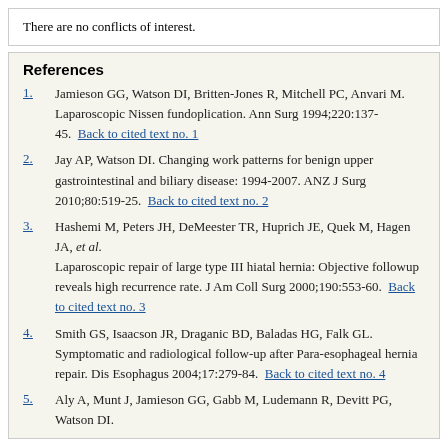There are no conflicts of interest.
References
1. Jamieson GG, Watson DI, Britten-Jones R, Mitchell PC, Anvari M. Laparoscopic Nissen fundoplication. Ann Surg 1994;220:137-45. Back to cited text no. 1
2. Jay AP, Watson DI. Changing work patterns for benign upper gastrointestinal and biliary disease: 1994-2007. ANZ J Surg 2010;80:519-25. Back to cited text no. 2
3. Hashemi M, Peters JH, DeMeester TR, Huprich JE, Quek M, Hagen JA, et al. Laparoscopic repair of large type III hiatal hernia: Objective followup reveals high recurrence rate. J Am Coll Surg 2000;190:553-60. Back to cited text no. 3
4. Smith GS, Isaacson JR, Draganic BD, Baladas HG, Falk GL. Symptomatic and radiological follow-up after Para-esophageal hernia repair. Dis Esophagus 2004;17:279-84. Back to cited text no. 4
5. Aly A, Munt J, Jamieson GG, Gabb M, Ludemann R, Devitt PG, Watson DI.